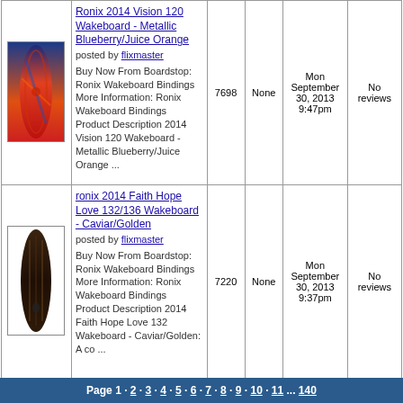| Image | Product | Hits | Votes | Date | Reviews |
| --- | --- | --- | --- | --- | --- |
| [image] | Ronix 2014 Vision 120 Wakeboard - Metallic Blueberry/Juice Orange
posted by flixmaster

Buy Now From Boardstop: Ronix Wakeboard Bindings More Information: Ronix Wakeboard Bindings Product Description 2014 Vision 120 Wakeboard - Metallic Blueberry/Juice Orange ... | 7698 | None | Mon September 30, 2013 9:47pm | No reviews |
| [image] | ronix 2014 Faith Hope Love 132/136 Wakeboard - Caviar/Golden
posted by flixmaster

Buy Now From Boardstop: Ronix Wakeboard Bindings More Information: Ronix Wakeboard Bindings Product Description 2014 Faith Hope Love 132 Wakeboard - Caviar/Golden: A co ... | 7220 | None | Mon September 30, 2013 9:37pm | No reviews |
Page 1 · 2 · 3 · 4 · 5 · 6 · 7 · 8 · 9 · 10 · 11 ... 140